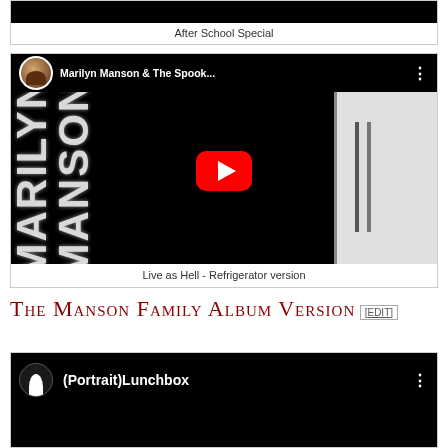After School Special
[Figure (screenshot): YouTube video embed showing Marilyn Manson & The Spook... with vertical album art text and play button]
Live as Hell - Refrigerator version
The Manson Family Album Version [EDIT]
[Figure (screenshot): YouTube video embed showing (Portrait)Lunchbox with dark background and three-dot menu]